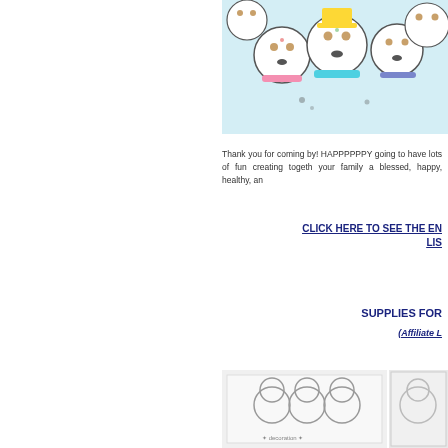[Figure (illustration): Colorful illustration of many cute round snowmen characters clustered together, with scarves and accessories, drawn in a kawaii style]
Thank you for coming by! HAPPPPPPY going to have lots of fun creating togeth your family a blessed, happy, healthy, an
CLICK HERE TO SEE THE EN LIS
SUPPLIES FOR
(Affiliate L
[Figure (illustration): Black and white coloring page or stamp image with small decorative text/figures at bottom]
[Figure (illustration): Partially visible illustration on the right side]